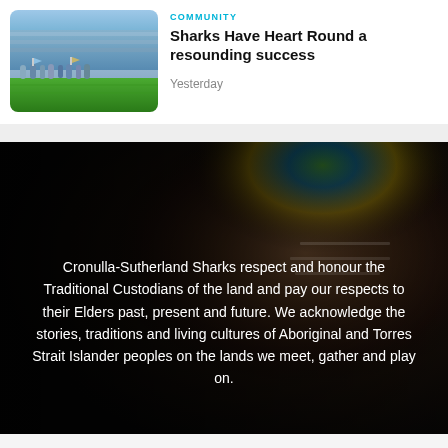COMMUNITY
Sharks Have Heart Round a resounding success
Yesterday
[Figure (photo): Group of people on a sports field at a stadium, waving flags, with blue and white colors visible. Green grass in foreground, stadium seating in background.]
Cronulla-Sutherland Sharks respect and honour the Traditional Custodians of the land and pay our respects to their Elders past, present and future. We acknowledge the stories, traditions and living cultures of Aboriginal and Torres Strait Islander peoples on the lands we meet, gather and play on.
[Figure (photo): Close-up portrait of an Aboriginal elder with white face paint and a colorful patterned headband, set against a dark background.]